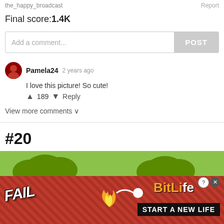the_happy_broadcast   Report
Final score: 1.4K
Add a comment...   POST
Pamela24  2 years ago
I love this picture! So cute!
▲ 189 ▼ Reply
View more comments ∨
#20
[Figure (screenshot): BitLife advertisement banner showing 'FAIL' text, a cartoon girl facepalming, flames, and the text 'START A NEW LIFE' on a red textured background with a green top strip.]